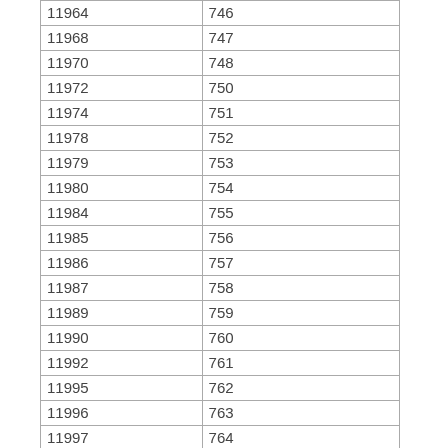| 11964 | 746 |
| 11968 | 747 |
| 11970 | 748 |
| 11972 | 750 |
| 11974 | 751 |
| 11978 | 752 |
| 11979 | 753 |
| 11980 | 754 |
| 11984 | 755 |
| 11985 | 756 |
| 11986 | 757 |
| 11987 | 758 |
| 11989 | 759 |
| 11990 | 760 |
| 11992 | 761 |
| 11995 | 762 |
| 11996 | 763 |
| 11997 | 764 |
| 11998 | 765 |
| 11999 | 766 |
| 12001 | 767 |
| 12004 | 768 |